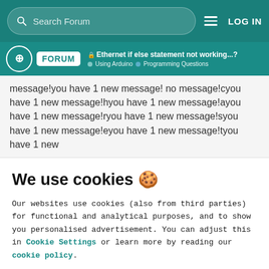Search Forum  LOG IN
Ethernet if else statement not working...? Using Arduino > Programming Questions
message!you have 1 new message! no message!cyou have 1 new message!hyou have 1 new message!ayou have 1 new message!ryou have 1 new message!syou have 1 new message!eyou have 1 new message!tyou have 1 new
We use cookies 🍪
Our websites use cookies (also from third parties) for functional and analytical purposes, and to show you personalised advertisement. You can adjust this in Cookie Settings or learn more by reading our cookie policy.
ONLY REQUIRED
ACCEPT ALL